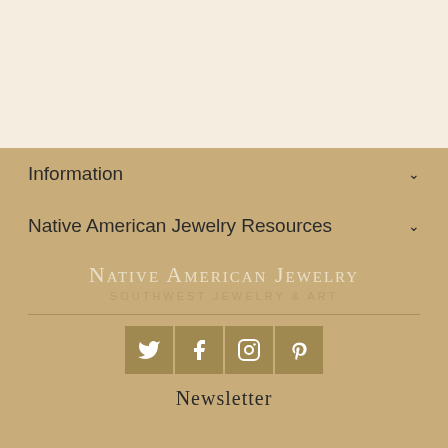Information
Native American Jewelry Resources
Native American Jewelry
Southwest Jewelry & Art
[Figure (logo): Social media icons: Twitter, Facebook, Instagram, Pinterest]
Newsletter